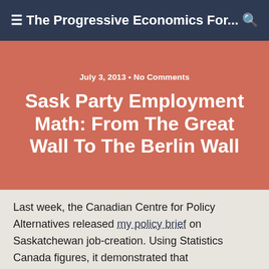≡  The Progressive Economics For...  🔍
July 3, 2013 • No Comments
Sask Party Employment Math: From The Great Wall To The Berlin Wall
Last week, the Canadian Centre for Policy Alternatives released my policy brief on Saskatchewan job-creation. Using Statistics Canada figures, it demonstrated that â€œworkforce growth has been almost identical during the premierships of Brad Wall and Lorne Calvert.â€  Unsurprisingly, the main explanatory variable for Saskatchewan employment